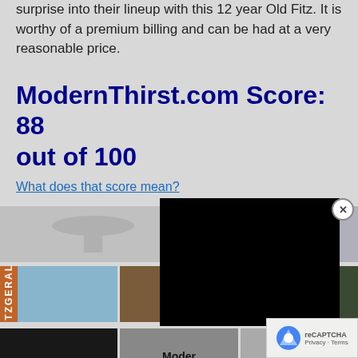surprise into their lineup with this 12 year Old Fitz.  It is worthy of a premium billing and can be had at a very reasonable price.
ModernThirst.com Score: 88 out of 100
What does that score mean?
[Figure (photo): Grid of photos showing Old Fitzgerald whiskey bottles and glasses, a video overlay (black), and thumbnail images]
[Figure (photo): Bottom row thumbnails of whiskey-related photos including a ModernThirst logo]